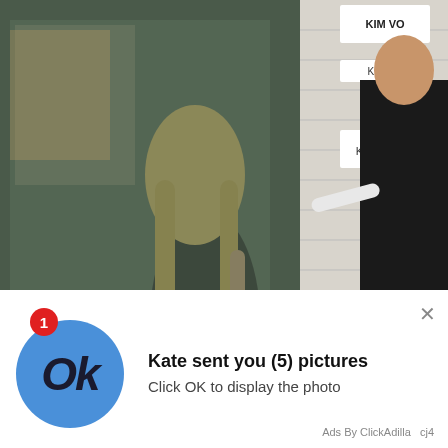[Figure (photo): A blonde woman in a black dress carrying a white handbag, getting into a black car. A man in a dark suit stands to the right. Background shows a white brick wall with 'KIM VO' signage visible.]
[Figure (screenshot): A notification overlay popup with a blue circle containing 'Ok' text, a red badge showing '1', title 'Kate sent you (5) pictures', body text 'Click OK to display the photo', and footer 'Ads By ClickAdilla  cj4'. An X close button is in the top right.]